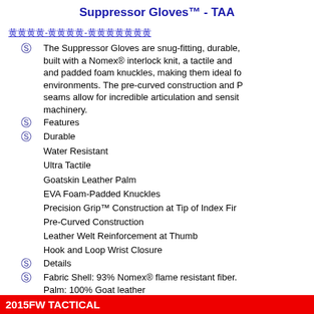Suppressor Gloves™ - TAA
🔲🔲🔲🔲-🔲🔲🔲🔲-🔲🔲🔲🔲🔲🔲🔲
The Suppressor Gloves are snug-fitting, durable, built with a Nomex® interlock knit, a tactile and and padded foam knuckles, making them ideal for environments. The pre-curved construction and P seams allow for incredible articulation and sensit machinery.
Features
Durable
Water Resistant
Ultra Tactile
Goatskin Leather Palm
EVA Foam-Padded Knuckles
Precision Grip™ Construction at Tip of Index Fir
Pre-Curved Construction
Leather Welt Reinforcement at Thumb
Hook and Loop Wrist Closure
Details
Fabric Shell: 93% Nomex® flame resistant fiber. Palm: 100% Goat leather
Avg. Weight (oz./g): 3.2oz / 90g (L)
定價:NT$3000.特價:NT$2700.0 含運費
2015FW TACTICAL